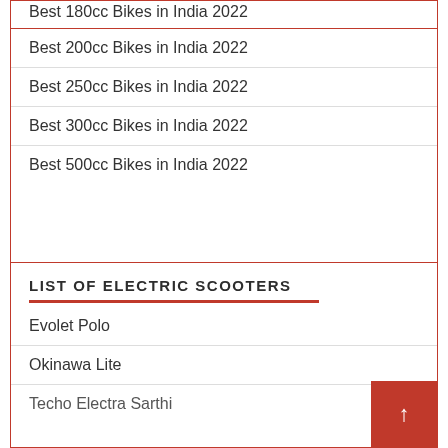Best 200cc Bikes in India 2022
Best 250cc Bikes in India 2022
Best 300cc Bikes in India 2022
Best 500cc Bikes in India 2022
LIST OF ELECTRIC SCOOTERS
Evolet Polo
Okinawa Lite
Techo Electra Sarthi